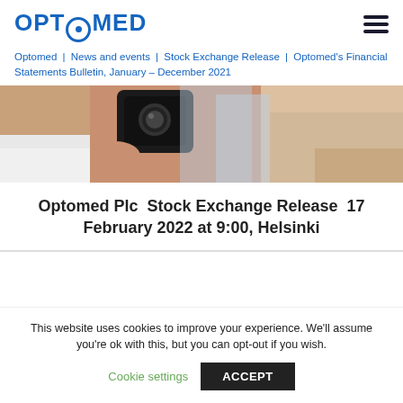OPTOMED
Optomed | News and events | Stock Exchange Release | Optomed's Financial Statements Bulletin, January – December 2021
[Figure (photo): Close-up photo of a person holding an ophthalmology or medical imaging device, cropped to show hands and chin area.]
Optomed Plc Stock Exchange Release 17 February 2022 at 9:00, Helsinki
This website uses cookies to improve your experience. We'll assume you're ok with this, but you can opt-out if you wish.
Cookie settings    ACCEPT